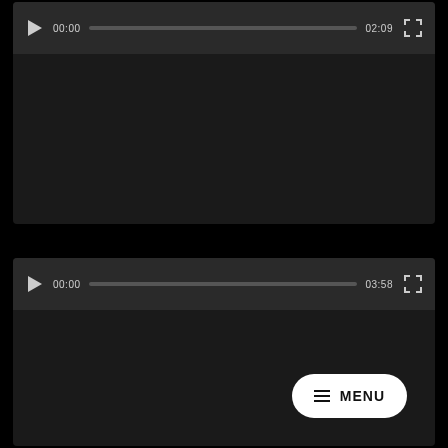[Figure (screenshot): Video player 1 with dark background, controls bar showing play button, progress bar, time 00:00 / 02:09, and fullscreen icon]
[Figure (screenshot): Video player 2 with dark background, controls bar showing play button, progress bar, time 00:00 / 03:58, fullscreen icon, and a white MENU button with hamburger icon in the bottom-right]